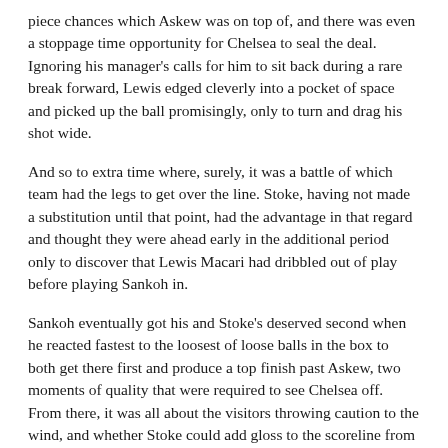piece chances which Askew was on top of, and there was even a stoppage time opportunity for Chelsea to seal the deal. Ignoring his manager's calls for him to sit back during a rare break forward, Lewis edged cleverly into a pocket of space and picked up the ball promisingly, only to turn and drag his shot wide.
And so to extra time where, surely, it was a battle of which team had the legs to get over the line. Stoke, having not made a substitution until that point, had the advantage in that regard and thought they were ahead early in the additional period only to discover that Lewis Macari had dribbled out of play before playing Sankoh in.
Sankoh eventually got his and Stoke's deserved second when he reacted fastest to the loosest of loose balls in the box to both get there first and produce a top finish past Askew, two moments of quality that were required to see Chelsea off. From there, it was all about the visitors throwing caution to the wind, and whether Stoke could add gloss to the scoreline from the chances they left open as a result.
Sankoh was again denied his hat-trick, this time by the offside flag, and Godfrinne rather hilariously skied his final try into the car park behind the goal, while Chelsea toiled to give it one last hurrah. Vale